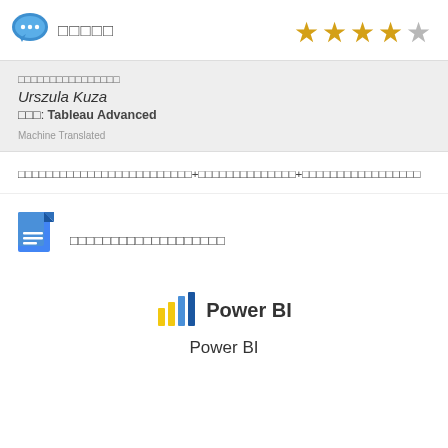□□□□□
[Figure (illustration): Chat/review icon — blue speech bubble with three dots]
[Figure (illustration): Star rating: 4 filled gold stars and 1 empty/grey star]
□□□□□□□□□□□□□□□□
Urszula Kuza
□□□: Tableau Advanced
Machine Translated
□□□□□□□□□□□□□□□□□□□□□□□□□+□□□□□□□□□□□□□□+□□□□□□□□□□□□□□□□□
[Figure (illustration): Google Docs-style document icon — blue with white lines]
□□□□□□□□□□□□□□□□□□□
[Figure (logo): Power BI logo icon — bar chart columns in blue/yellow]
Power BI
Power BI